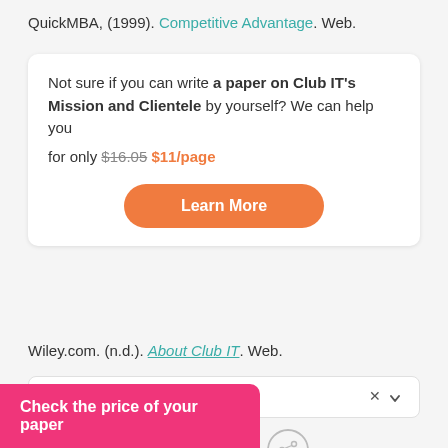QuickMBA, (1999). Competitive Advantage. Web.
Not sure if you can write a paper on Club IT's Mission and Clientele by yourself? We can help you for only $16.05 $11/page
Learn More
Wiley.com. (n.d.). About Club IT. Web.
Paper Details
Check the price of your paper